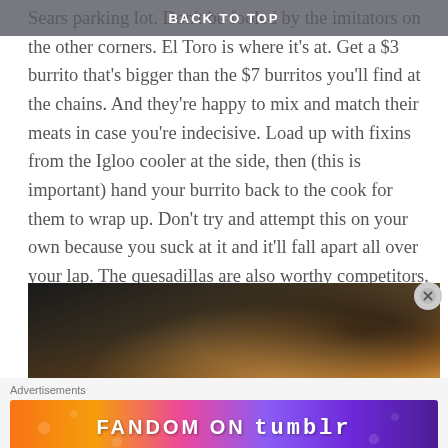Sears parking lot. Don't be fooled by the imitators on the other corners. El Toro is where it's at. Get a $3 burrito that's bigger than the $7 burritos you'll find at the chains. And they're happy to mix and match their meats in case you're indecisive. Load up with fixins from the Igloo cooler at the side, then (this is important) hand your burrito back to the cook for them to wrap up. Don't try and attempt this on your own because you suck at it and it'll fall apart all over your lap. The quesadillas are also worthy competitors.
[Figure (photo): Blurred photo of food, likely a burrito or quesadilla, dark background with warm orange and brown tones]
Advertisements
[Figure (other): Fandom on Tumblr advertisement banner with colorful gradient background in orange, pink, and purple tones]